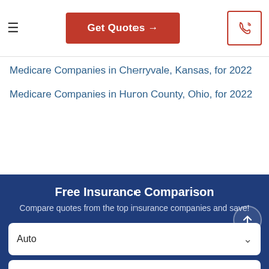Get Quotes →
Medicare Companies in Cherryvale, Kansas, for 2022
Medicare Companies in Huron County, Ohio, for 2022
Free Insurance Comparison
Compare quotes from the top insurance companies and save!
Auto
ZIP Code